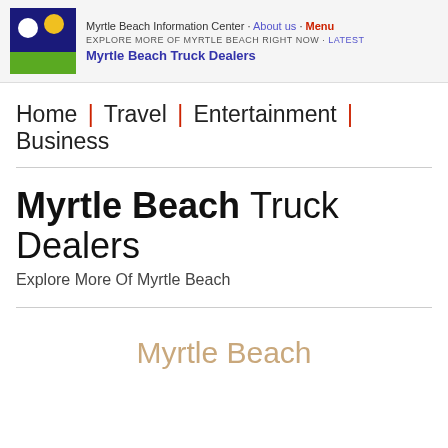Myrtle Beach Information Center · About us · Menu EXPLORE MORE OF MYRTLE BEACH RIGHT NOW · Latest Myrtle Beach Truck Dealers
Home | Travel | Entertainment | Business
Myrtle Beach Truck Dealers
Explore More Of Myrtle Beach
Myrtle Beach